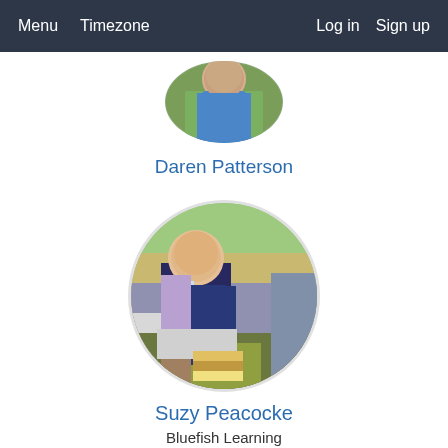Menu  Timezone  Log in  Sign up
[Figure (photo): Circular profile photo of Daren Patterson, partially cropped at top, showing person in blue shirt with green/yellow foliage background]
Daren Patterson
[Figure (photo): Circular profile photo of Suzy Peacocke, woman with short blonde hair sitting outdoors on a bench reading a book, wearing navy top and jeans, with books stacked in foreground]
Suzy Peacocke
Bluefish Learning
Co-Flounder